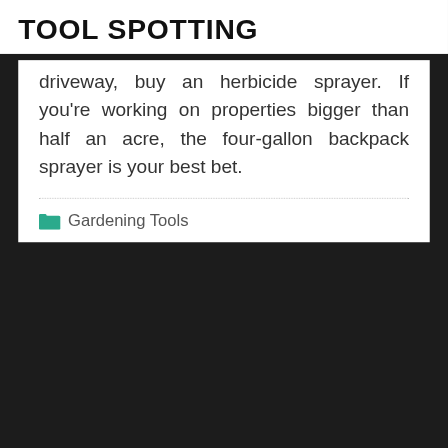TOOL SPOTTING
driveway, buy an herbicide sprayer. If you're working on properties bigger than half an acre, the four-gallon backpack sprayer is your best bet.
Gardening Tools
[Figure (photo): Dark background photo showing multiple wrench tools arranged on a black surface]
< PREVIOUS
Tools For Your Garage Workshop
NEXT >
Tools To Start Your Own Lawn Care Business (Part II)